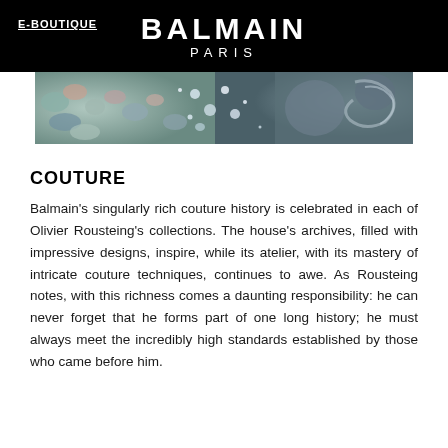E-BOUTIQUE | BALMAIN PARIS
[Figure (photo): Close-up photograph of glittering embellishments and sequins on fabric, with metallic textures visible]
COUTURE
Balmain's singularly rich couture history is celebrated in each of Olivier Rousteing's collections. The house's archives, filled with impressive designs, inspire, while its atelier, with its mastery of intricate couture techniques, continues to awe. As Rousteing notes, with this richness comes a daunting responsibility: he can never forget that he forms part of one long history; he must always meet the incredibly high standards established by those who came before him.